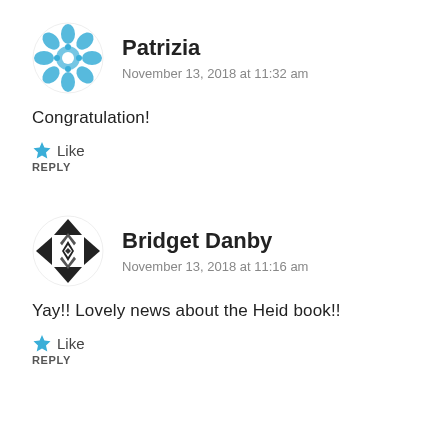[Figure (illustration): Blue decorative avatar/icon for user Patrizia]
Patrizia
November 13, 2018 at 11:32 am
Congratulation!
Like
REPLY
[Figure (illustration): Black and white decorative avatar/icon for user Bridget Danby]
Bridget Danby
November 13, 2018 at 11:16 am
Yay!! Lovely news about the Heid book!!
Like
REPLY